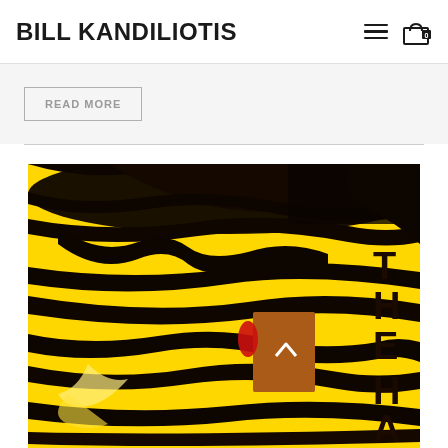BILL KANDILIOTIS
READ MORE
[Figure (photo): Book cover with yellow and black brushstroke pattern, text reading 'THE HAT' visible on the right side, with a small brown/orange square element and red accent in the center-right area. The cover has a dramatic, artistic style with bold black strokes over yellow background.]